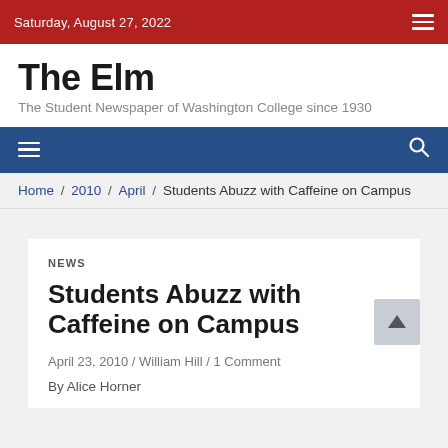Saturday, August 27, 2022
The Elm
The Student Newspaper of Washington College since 1930
Home / 2010 / April / Students Abuzz with Caffeine on Campus
NEWS
Students Abuzz with Caffeine on Campus
April 23, 2010 / William Hill / 1 Comment
By Alice Horner